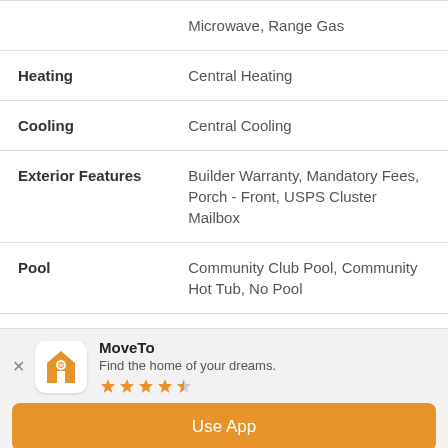| Property | Details |
| --- | --- |
|  | Microwave, Range Gas |
| Heating | Central Heating |
| Cooling | Central Cooling |
| Exterior Features | Builder Warranty, Mandatory Fees, Porch - Front, USPS Cluster Mailbox |
| Pool | Community Club Pool, Community Hot Tub, No Pool |
| Roof | Shingle |
MoveTo — Find the home of your dreams. — Use App